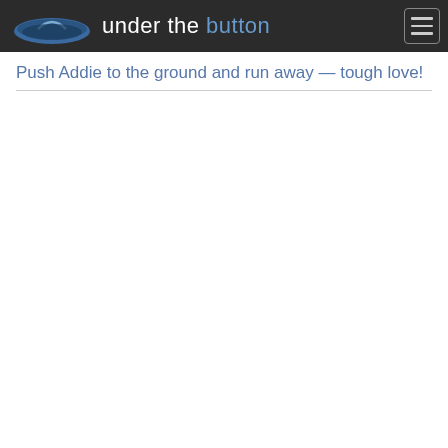under the button
Push Addie to the ground and run away — tough love!